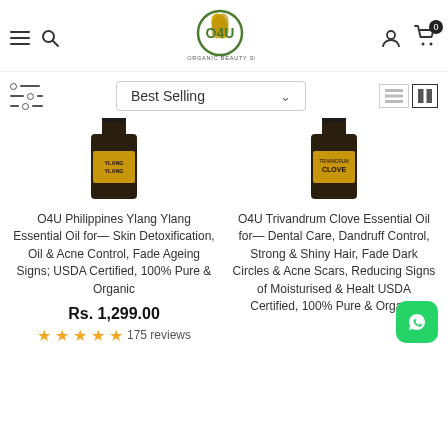[Figure (logo): O4U The Organic Beauty Shop logo with green and gold leaf design]
[Figure (screenshot): Best Selling sort dropdown and list/grid view toggles]
[Figure (photo): O4U Philippines Ylang Ylang Essential Oil dark bottle with gold label]
[Figure (photo): O4U Trivandrum Clove Essential Oil dark bottle with gold label]
O4U Philippines Ylang Ylang Essential Oil for— Skin Detoxification, Oil & Acne Control, Fade Ageing Signs; USDA Certified, 100% Pure & Organic
Rs. 1,299.00
★★★★★ 175 reviews
O4U Trivandrum Clove Essential Oil for— Dental Care, Dandruff Control, Strong & Shiny Hair, Fade Dark Circles & Acne Scars, Reducing Signs of Moisturised & Healt USDA Certified, 100% Pure & Organic